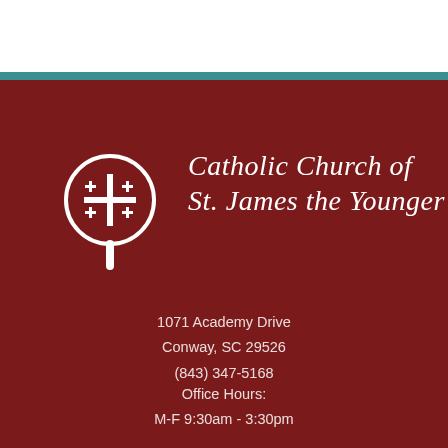[Figure (logo): Catholic Church of St. James the Younger logo — circular emblem with Jerusalem cross inside, on dark maroon background, with church name in italic script to the right]
1071 Academy Drive
Conway, SC 29526
(843) 347-5168
Office Hours:
M-F 9:30am - 3:30pm